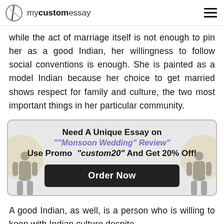mycustomessay
while the act of marriage itself is not enough to pin her as a good Indian, her willingness to follow social conventions is enough. She is painted as a model Indian because her choice to get married shows respect for family and culture, the two most important things in her particular community.
[Figure (infographic): Promotional box with decorative silhouette figures and question mark shapes. Text reads: Need A Unique Essay on ""Monsoon Wedding" Review" Use Promo "custom20" And Get 20% Off! with an Order Now button.]
A good Indian, as well, is a person who is willing to keep with Indian culture despite